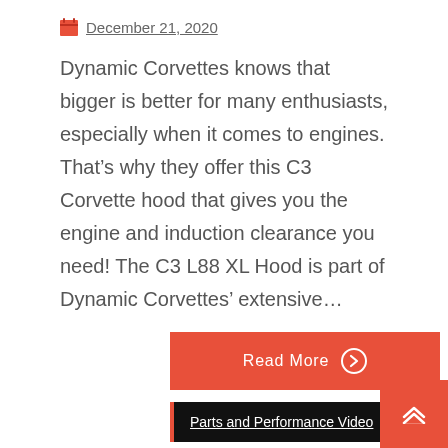December 21, 2020
Dynamic Corvettes knows that bigger is better for many enthusiasts, especially when it comes to engines. That's why they offer this C3 Corvette hood that gives you the engine and induction clearance you need! The C3 L88 XL Hood is part of Dynamic Corvettes' extensive...
Read More →
Parts and Performance Video